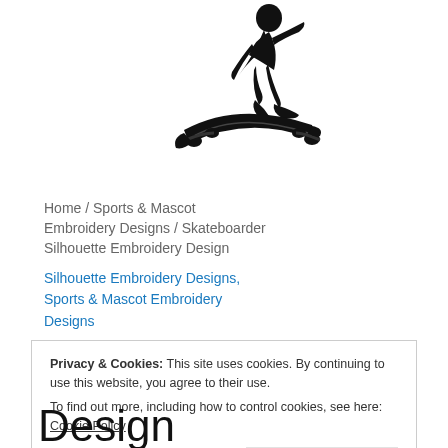[Figure (illustration): Black silhouette embroidery design of a skateboarder performing a trick on a skateboard, shown mid-air with the board tilted.]
Home / Sports & Mascot
Embroidery Designs / Skateboarder
Silhouette Embroidery Design
Silhouette Embroidery Designs, Sports & Mascot Embroidery Designs
Privacy & Cookies: This site uses cookies. By continuing to use this website, you agree to their use.
To find out more, including how to control cookies, see here: Cookie Policy
Close and accept
Design